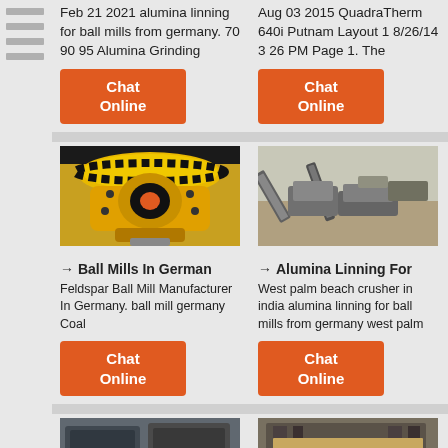Feb 21 2021 alumina linning for ball mills from germany. 70 90 95 Alumina Grinding
Aug 03 2015 QuadraTherm 640i Putnam Layout 1 8/26/14 3 26 PM Page 1. The
[Figure (photo): Yellow industrial ball mill machine with gear teeth and orange center hub]
[Figure (photo): Aerial view of mining conveyor belt and crushing machinery on sandy ground]
→ Ball Mills In Germany
Feldspar Ball Mill Manufacturer In Germany. ball mill germany Coal
Chat Online
→ Alumina Linning For
West palm beach crusher in india alumina linning for ball mills from germany west palm
Chat Online
[Figure (photo): Two industrial crusher machines with black and red flywheels in a factory setting]
[Figure (photo): Industrial jaw crusher with red circular pulley and wooden-colored cross beams, teal machinery at bottom]